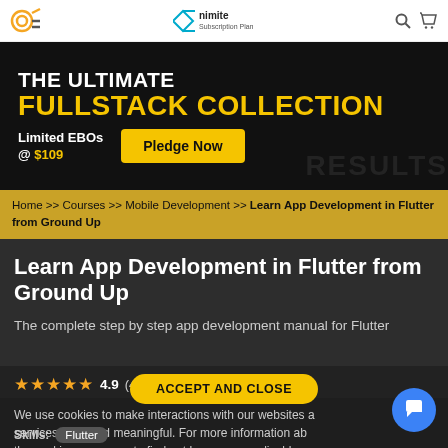[Figure (screenshot): Website header with logo icons on left, Nimite Subscription Plan logo in center, search and cart icons on right]
[Figure (screenshot): Promotional banner: THE ULTIMATE FULLSTACK COLLECTION, Limited EBOs @ $109, Pledge Now button]
Home >> Courses >> Mobile Development >> Learn App Development in Flutter from Ground Up
Learn App Development in Flutter from Ground Up
The complete step by step app development manual for Flutter
4.9 (4 ratings)
ACCEPT AND CLOSE
We use cookies to make interactions with our websites and services easy and meaningful. For more information about the cookies we use or to find out how you can disable cookies Click Here.
Skills: Flutter